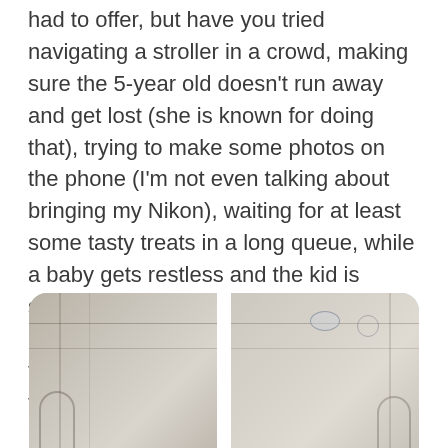had to offer, but have you tried navigating a stroller in a crowd, making sure the 5-year old doesn't run away and get lost (she is known for doing that), trying to make some photos on the phone (I'm not even talking about bringing my Nikon), waiting for at least some tasty treats in a long queue, while a baby gets restless and the kid is suspiciously looking around for an escape route, AND trying to appreciate the Christmas atmosphere in a new town? Let me tell you, it's a bit tough.
[Figure (photo): Street scene with European-style buildings on both sides, overhead wires and Christmas decorations visible, split into two side-by-side photos]